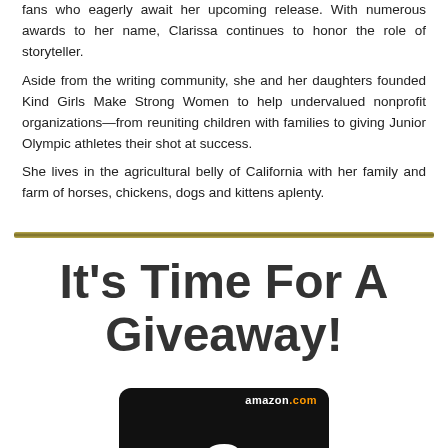fans who eagerly await her upcoming release. With numerous awards to her name, Clarissa continues to honor the role of storyteller.
Aside from the writing community, she and her daughters founded Kind Girls Make Strong Women to help undervalued nonprofit organizations—from reuniting children with families to giving Junior Olympic athletes their shot at success.
She lives in the agricultural belly of California with her family and farm of horses, chickens, dogs and kittens aplenty.
It's Time For A Giveaway!
[Figure (photo): Amazon.com gift card — black background with large white 'a' logo and amazon.com branding]